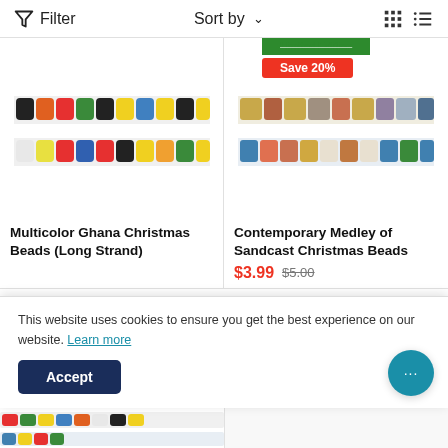Filter   Sort by   [grid view] [list view]
[Figure (photo): Two strands of multicolor Ghana Christmas beads on white background]
Multicolor Ghana Christmas Beads (Long Strand)
[Figure (photo): Two strands of contemporary sandcast Christmas beads in muted earth tones, labeled Limited Edition with Save 20% badge]
Contemporary Medley of Sandcast Christmas Beads
$3.99  $5.00
This website uses cookies to ensure you get the best experience on our website. Learn more
Accept
[Figure (photo): Partial view of colorful bead strands at bottom of page]